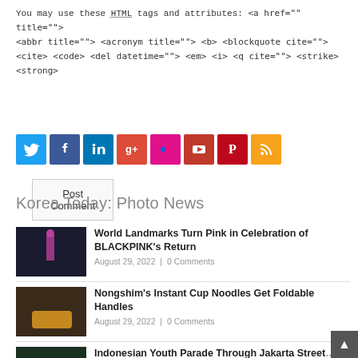You may use these HTML tags and attributes: <a href="" title=""> <abbr title=""> <acronym title=""> <b> <blockquote cite=""> <cite> <code> <del datetime=""> <em> <i> <q cite=""> <strike> <strong>
Post Comment
[Figure (infographic): Row of 8 social media icon buttons: Twitter (blue), Facebook (dark blue), LinkedIn (blue), Google+ (red-orange), Flickr (pink), YouTube (dark red), Pinterest (dark red), RSS (orange)]
Korea Today: Photo News
World Landmarks Turn Pink in Celebration of BLACKPINK's Return
August 29, 2022 | 0 Comments
Nongshim's Instant Cup Noodles Get Foldable Handles
August 29, 2022 | 0 Comments
Indonesian Youth Parade Through Jakarta Streets